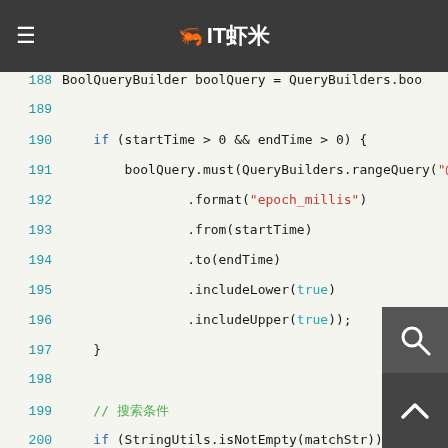IT虾米
188    BoolQueryBuilder boolQuery = QueryBuilders.boo
189
190    if (startTime > 0 && endTime > 0) {
191        boolQuery.must(QueryBuilders.rangeQuery("@
192                .format("epoch_millis")
193                .from(startTime)
194                .to(endTime)
195                .includeLower(true)
196                .includeUpper(true));
197        }
198
199        // 搜索条件
200        if (StringUtils.isNotEmpty(matchStr)) {
201            for (String s : matchStr.split(",")) {
202                String[] ss = s.split("=");
203                if (ss.length > 1) {
204                    if (matchPhrase == Boolean.TRUE) {
205                        boolQuery.must(QueryBui    m
206                    } else {
207                        boolQuery.must(QueryBuilders.m
208                    }
209                }
210        }